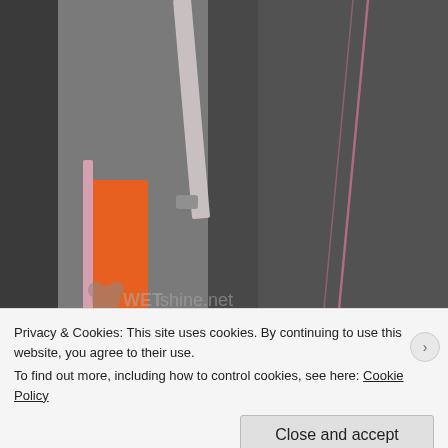[Figure (photo): Close-up photo of dark leather car interior seat with pink/red stitching detail and a pink/orange object near the door pillar with a WETshine.net watermark]
With all the little bits and pieces done, final step is to dress the and paintwork waxed with ValetPRO Banana Wax, a carnaub excuse the slight haziness on the paintwork as the wax was a
Privacy & Cookies: This site uses cookies. By continuing to use this website, you agree to their use.
To find out more, including how to control cookies, see here: Cookie Policy
Close and accept